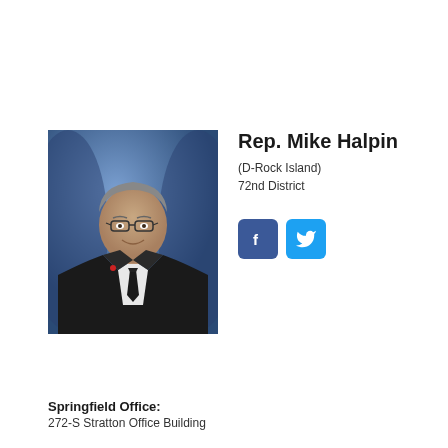[Figure (photo): Professional headshot of Rep. Mike Halpin wearing a suit and tie, with blue background]
Rep. Mike Halpin
(D-Rock Island)
72nd District
[Figure (infographic): Facebook and Twitter social media icon buttons]
Springfield Office:
272-S Stratton Office Building